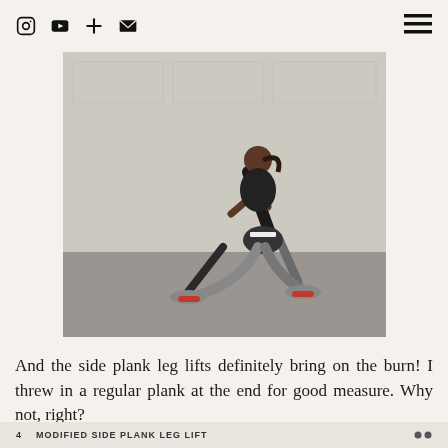Instagram | YouTube | + | Email | Menu
[Figure (photo): A woman in athletic wear (black sports bra, grey capri leggings, pink and grey sneakers) performing a lunge exercise in a studio with white brick walls and a concrete floor.]
And the side plank leg lifts definitely bring on the burn! I threw in a regular plank at the end for good measure. Why not, right?
MODIFIED SIDE PLANK LEG LIFT